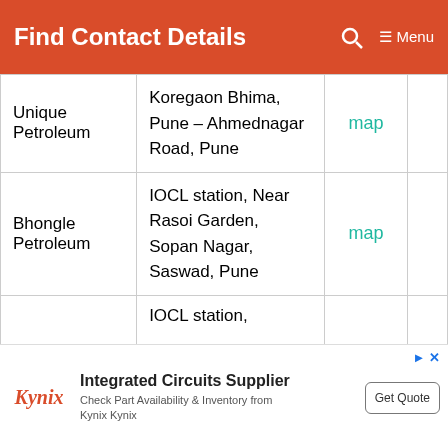Find Contact Details
| Name | Address | Map |
| --- | --- | --- |
| Unique Petroleum | Koregaon Bhima, Pune – Ahmednagar Road, Pune | map |
| Bhongle Petroleum | IOCL station, Near Rasoi Garden, Sopan Nagar, Saswad, Pune | map |
|  | IOCL station, |  |
[Figure (screenshot): Advertisement banner for Kynix — Integrated Circuits Supplier with Get Quote button]